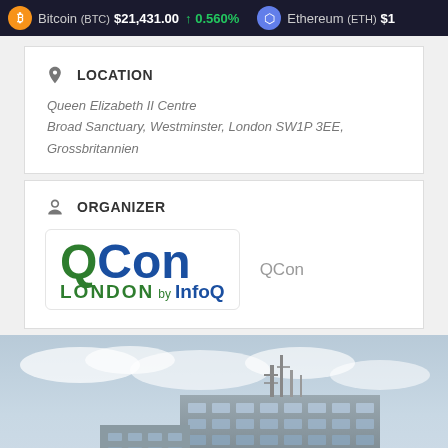Bitcoin (BTC) $21,431.00 ↑ 0.560%   Ethereum (ETH) $1...
LOCATION
Queen Elizabeth II Centre
Broad Sanctuary, Westminster, London SW1P 3EE, Grossbritannien
ORGANIZER
[Figure (logo): QCon London by InfoQ logo]
QCon
[Figure (photo): Exterior photo of the Queen Elizabeth II Centre building in London, showing a modern building with a cloudy sky background]